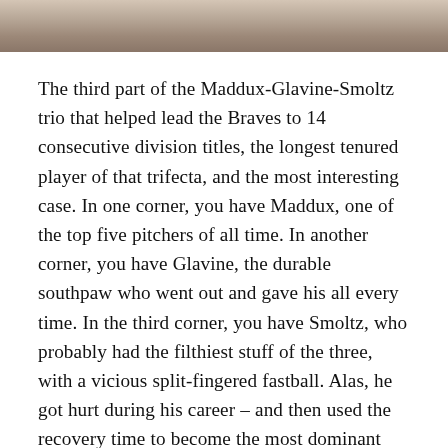[Figure (photo): Partial photograph at top of page, showing the lower portion of a person, appears to be a sports-related image with a light/beige background.]
The third part of the Maddux-Glavine-Smoltz trio that helped lead the Braves to 14 consecutive division titles, the longest tenured player of that trifecta, and the most interesting case. In one corner, you have Maddux, one of the top five pitchers of all time. In another corner, you have Glavine, the durable southpaw who went out and gave his all every time. In the third corner, you have Smoltz, who probably had the filthiest stuff of the three, with a vicious split-fingered fastball. Alas, he got hurt during his career – and then used the recovery time to become the most dominant closer in the game for three years before returning to the rotation. His numbered stats aren't as good as Glavine and Maddux – mostly because of his various times struggling through injuries and because he spent three years racking up 150 saves. At the same time, he did strike out 3000